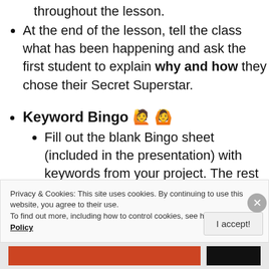throughout the lesson.
At the end of the lesson, tell the class what has been happening and ask the first student to explain why and how they chose their Secret Superstar.
Keyword Bingo 🙋 🙆
Fill out the blank Bingo sheet (included in the presentation) with keywords from your project. The rest is easy and fun – play Bingo! Prizes for the winners is always a good idea too.
Privacy & Cookies: This site uses cookies. By continuing to use this website, you agree to their use.
To find out more, including how to control cookies, see here: Cookie Policy
I accept!